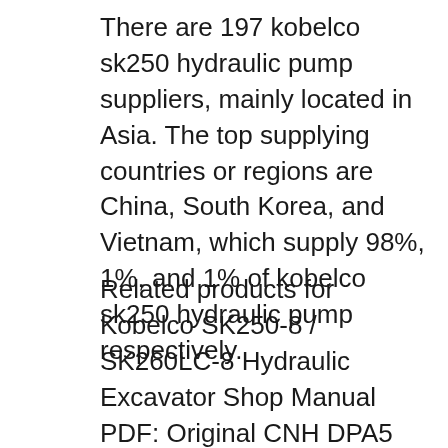There are 197 kobelco sk250 hydraulic pump suppliers, mainly located in Asia. The top supplying countries or regions are China, South Korea, and Vietnam, which supply 98%, 1%, and 1% of kobelco sk250 hydraulic pump respectively.
Related products for Kobelco SK250-8 / SK260LC-8 Hydraulic Excavator Shop Manual PDF: Original CNH DPA5 Diagnostic Service Tool Adapter Cable Kit + CNH EST 9.2 This is a 100% genuine CNH DPA5 kit. Include CNH 9 Engineering Software 2019 1899$ [2020] Kobelco Parts Catalog All Regions 2015. Parts catalog includes detailed parts and [Troubleshooting] Kobelco